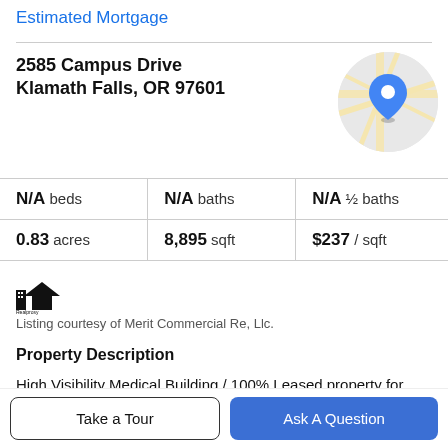Estimated Mortgage
2585 Campus Drive
Klamath Falls, OR 97601
[Figure (map): Circular map thumbnail showing location pin at 2585 Campus Drive, Klamath Falls, OR]
|  |  |  |
| --- | --- | --- |
| N/A beds | N/A baths | N/A ½ baths |
| 0.83 acres | 8,895 sqft | $237 / sqft |
[Figure (logo): Small house/building icon logo]
Listing courtesy of Merit Commercial Re, Llc.
Property Description
High Visibility Medical Building / 100% Leased property for Sale on Campus Dr. in Klamath Falls, OR. Tenants include